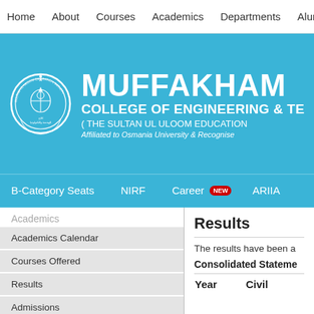Home  About  Courses  Academics  Departments  Alumni
[Figure (logo): Muffakham College of Engineering & Technology banner with Sultan Ul Uloom Education Society seal/logo on left, text: MUFFAKHAM [JAH] COLLEGE OF ENGINEERING & TECHNOLOGY (THE SULTAN UL ULOOM EDUCATION ...) Affiliated to Osmania University & Recognised...]
B-Category Seats  NIRF  Career NEW  ARIIA
Academics
Academics Calendar
Courses Offered
Results
Admissions
University Ranks
Vision & Mission
Results
The results have been a
Consolidated Stateme
| Year | Civil |
| --- | --- |